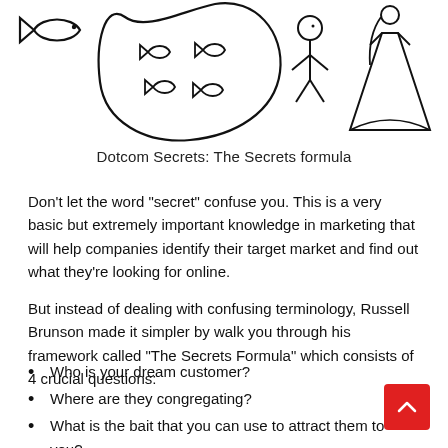[Figure (illustration): Hand-drawn doodles: a fish on the left, a blob shape with fish symbols inside and a stick figure to the right of it, and a wedding dress/bride figure on the far right]
Dotcom Secrets: The Secrets formula
Don't let the word “secret” confuse you. This is a very basic but extremely important knowledge in marketing that will help companies identify their target market and find out what they’re looking for online.
But instead of dealing with confusing terminology, Russell Brunson made it simpler by walk you through his framework called “The Secrets Formula” which consists of 4 crucial questions:
Who is your dream customer?
Where are they congregating?
What is the bait that you can use to attract them to you?